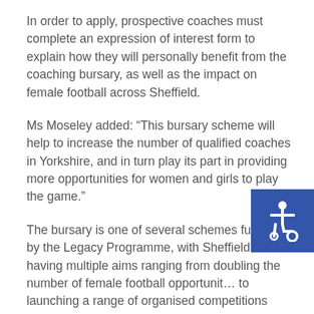In order to apply, prospective coaches must complete an expression of interest form to explain how they will personally benefit from the coaching bursary, as well as the impact on female football across Sheffield.
Ms Moseley added: “This bursary scheme will help to increase the number of qualified coaches in Yorkshire, and in turn play its part in providing more opportunities for women and girls to play the game.”
The bursary is one of several schemes funded by the Legacy Programme, with Sheffield’s FA having multiple aims ranging from doubling the number of female football opportunities to launching a range of organised competitions across all age groups.
Sarah Wood, football development manager at Sheffield and Hallamshire FA, said: “We want to inspire women and girls to get involved in the beautiful game, whether this is playing at a grassroots club, coaching a team or refereeing a game.